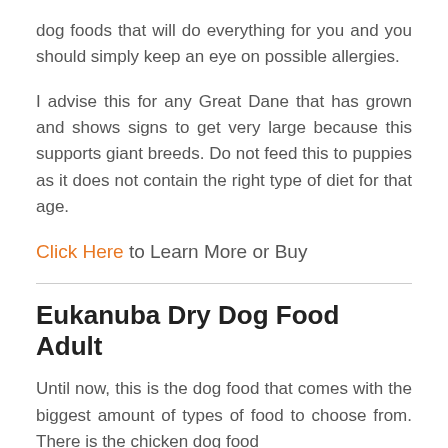dog foods that will do everything for you and you should simply keep an eye on possible allergies.
I advise this for any Great Dane that has grown and shows signs to get very large because this supports giant breeds. Do not feed this to puppies as it does not contain the right type of diet for that age.
Click Here to Learn More or Buy
Eukanuba Dry Dog Food Adult
Until now, this is the dog food that comes with the biggest amount of types of food to choose from. There is the chicken dog food